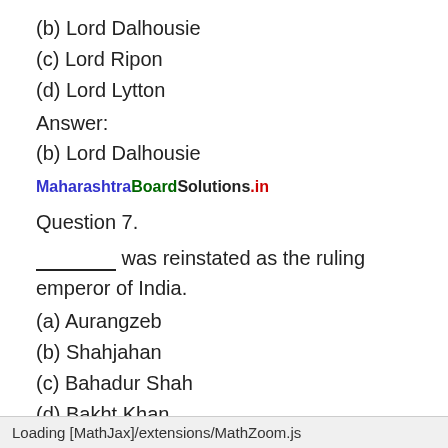(b) Lord Dalhousie
(c) Lord Ripon
(d) Lord Lytton
Answer:
(b) Lord Dalhousie
MaharashtraBoardSolutions.in
Question 7.
________ was reinstated as the ruling emperor of India.
(a) Aurangzeb
(b) Shahjahan
(c) Bahadur Shah
(d) Bakht Khan
Answer:
(c) Bahadur Shah
Loading [MathJax]/extensions/MathZoom.js